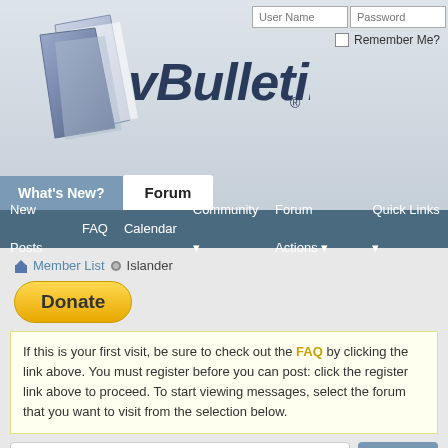[Figure (screenshot): vBulletin forum software logo with stylized book/page icon and vBulletin text in dark blue italic font]
User Name | Password
Remember Me?
What's New? | Forum
New Posts  FAQ  Calendar  Community  Forum Actions  Quick Links
Member List  Islander
Donate
If this is your first visit, be sure to check out the FAQ by clicking the link above. You must register before you can post: click the register link above to proceed. To start viewing messages, select the forum that you want to visit from the selection below.
Islander
Administrator
Find latest posts
Find latest started threads
| Join Date: | 09-16-07 |
| --- | --- |
| Last | 14 Hours Ago |
Islander's Activity
All  Islander